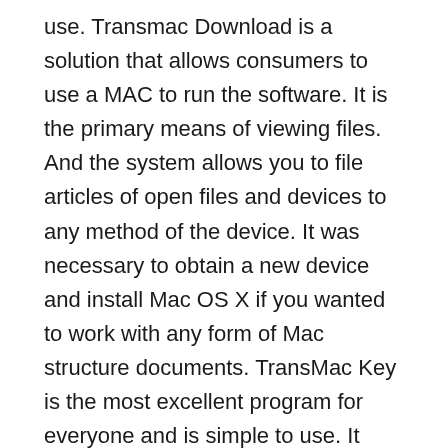use. Transmac Download is a solution that allows consumers to use a MAC to run the software. It is the primary means of viewing files. And the system allows you to file articles of open files and devices to any method of the device. It was necessary to obtain a new device and install Mac OS X if you wanted to work with any form of Mac structure documents. TransMac Key is the most excellent program for everyone and is simple to use. It might assist you in reading many spells on Mac.
TranssMac License Key allows you to create, compress, enlarge, and divide DMG files. It can read ISO and dmg files directly from CD or DVD drives. This application is the best program for the...